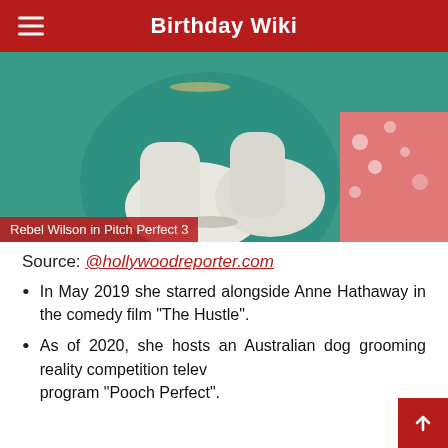Birthday Wiki
[Figure (photo): Rebel Wilson in Pitch Perfect 3 — woman in teal dress wearing long white gloves, another person in floral skirt visible at right edge]
Rebel Wilson in Pitch Perfect 3
Source: @hollywoodreporter.com
In May 2019 she starred alongside Anne Hathaway in the comedy film "The Hustle".
As of 2020, she hosts an Australian dog grooming reality competition television program "Pooch Perfect".